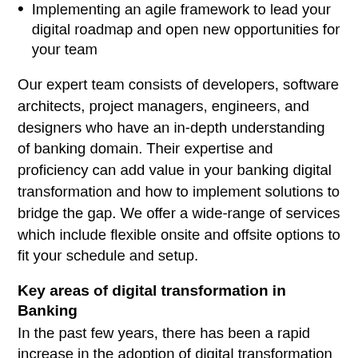Implementing an agile framework to lead your digital roadmap and open new opportunities for your team
Our expert team consists of developers, software architects, project managers, engineers, and designers who have an in-depth understanding of banking domain. Their expertise and proficiency can add value in your banking digital transformation and how to implement solutions to bridge the gap. We offer a wide-range of services which include flexible onsite and offsite options to fit your schedule and setup.
Key areas of digital transformation in Banking
In the past few years, there has been a rapid increase in the adoption of digital transformation in the banking sector. One of the key factors in this change is COVID-19 which forced banks to develop innovative ways connect with customers. Here are a few areas that have emerged as the most important for banks:
Subscribe Newsletter
e explored digital channels to